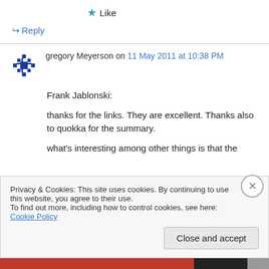★ Like
↪ Reply
gregory Meyerson on 11 May 2011 at 10:38 PM
Frank Jablonski:

thanks for the links. They are excellent. Thanks also to quokka for the summary.

what's interesting among other things is that the
Privacy & Cookies: This site uses cookies. By continuing to use this website, you agree to their use.
To find out more, including how to control cookies, see here: Cookie Policy
Close and accept